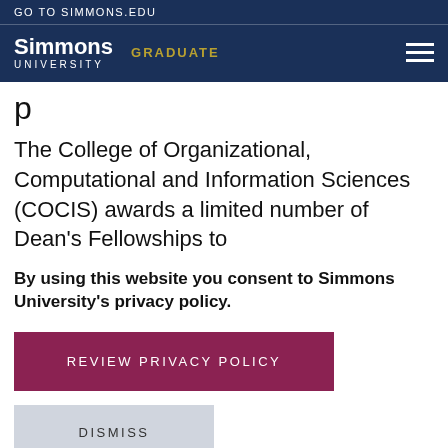GO TO SIMMONS.EDU
[Figure (logo): Simmons University logo with GRADUATE label and hamburger menu on dark navy navigation bar]
p
The College of Organizational, Computational and Information Sciences (COCIS) awards a limited number of Dean's Fellowships to
By using this website you consent to Simmons University's privacy policy.
REVIEW PRIVACY POLICY
DISMISS